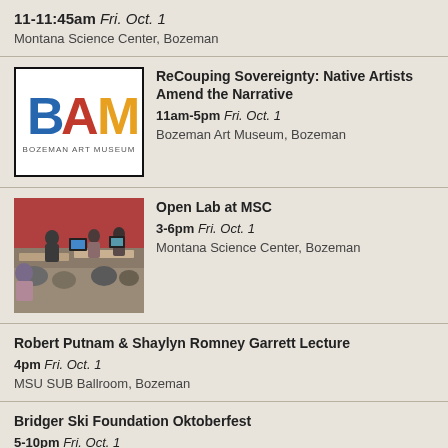11-11:45am Fri. Oct. 1
Montana Science Center, Bozeman
[Figure (logo): BAM Bozeman Art Museum logo — blue B, orange A, yellow M letters on white background with black border]
ReCouping Sovereignty: Native Artists Amend the Narrative
11am-5pm Fri. Oct. 1
Bozeman Art Museum, Bozeman
[Figure (photo): Photo of people working in a lab/classroom with computers and equipment]
Open Lab at MSC
3-6pm Fri. Oct. 1
Montana Science Center, Bozeman
Robert Putnam & Shaylyn Romney Garrett Lecture
4pm Fri. Oct. 1
MSU SUB Ballroom, Bozeman
Bridger Ski Foundation Oktoberfest
5-10pm Fri. Oct. 1
Bodhi Farms, Bozeman